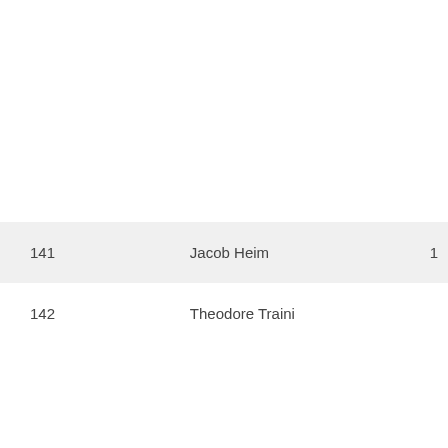| 141 | Jacob Heim | 1 |
| 142 | Theodore Traini |  |